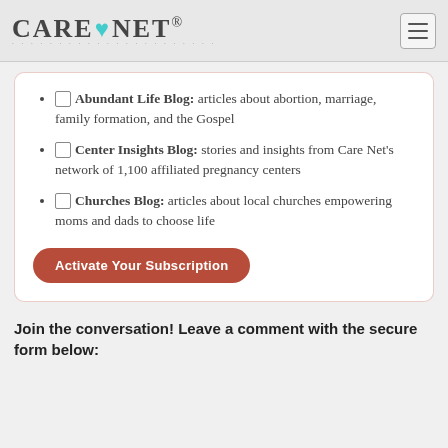Care Net
Abundant Life Blog: articles about abortion, marriage, family formation, and the Gospel
Center Insights Blog: stories and insights from Care Net's network of 1,100 affiliated pregnancy centers
Churches Blog: articles about local churches empowering moms and dads to choose life
Activate Your Subscription
Join the conversation! Leave a comment with the secure form below: